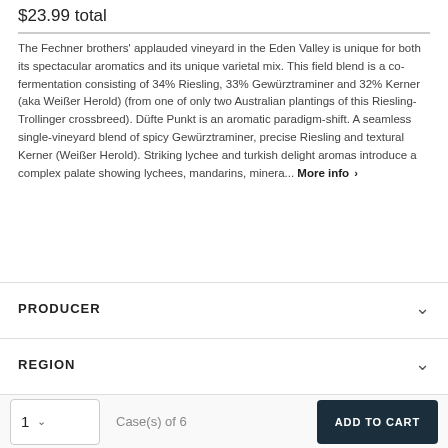$23.99 total
The Fechner brothers' applauded vineyard in the Eden Valley is unique for both its spectacular aromatics and its unique varietal mix. This field blend is a co-fermentation consisting of 34% Riesling, 33% Gewürztraminer and 32% Kerner (aka Weißer Herold) (from one of only two Australian plantings of this Riesling-Trollinger crossbreed). Düfte Punkt is an aromatic paradigm-shift. A seamless single-vineyard blend of spicy Gewürztraminer, precise Riesling and textural Kerner (Weißer Herold). Striking lychee and turkish delight aromas introduce a complex palate showing lychees, mandarins, minera... More info
PRODUCER
REGION
1  Case(s) of 6
ADD TO CART